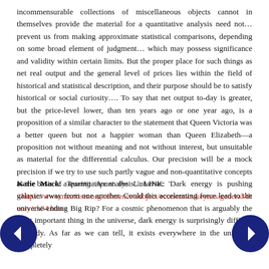incommensurable collections of miscellaneous objects cannot in themselves provide the material for a quantitative analysis need not… prevent us from making approximate statistical comparisons, depending on some broad element of judgment… which may possess significance and validity within certain limits. But the proper place for such things as net real output and the general level of prices lies within the field of historical and statistical description, and their purpose should be to satisfy historical or social curiosity…. To say that net output to-day is greater, but the price-level lower, than ten years ago or one year ago, is a proposition of a similar character to the statement that Queen Victoria was a better queen but not a happier woman than Queen Elizabeth—a proposition not without meaning and not without interest, but unsuitable as material for the differential calculus. Our precision will be a mock precision if we try to use such partly vague and non-quantitative concepts as the basis of a quantitative analysis… LINK: <https://www.marxists.org/reference/subject/economics/keynes/general-theory/ch04.htm>
Katie Mack: Tearing Apart the Universe: 'Dark energy is pushing galaxies away from one another. Could this accelerating force lead to the universe-ending Big Rip? For a cosmic phenomenon that is arguably the most important thing in the universe, dark energy is surprisingly difficult to study. As far as we can tell, it exists everywhere in the universe, completely'